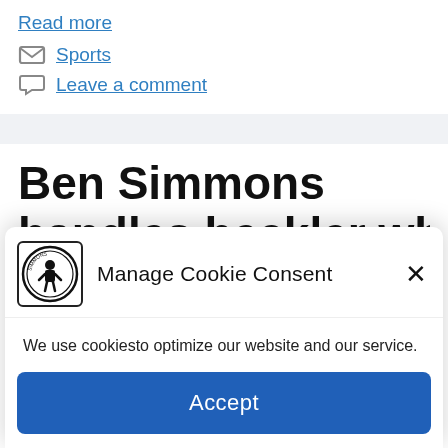Read more
Sports
Leave a comment
Ben Simmons handles heckler while
[Figure (logo): Circular logo with silhouette figure and text around the border]
Manage Cookie Consent
We use cookiesto optimize our website and our service.
Accept